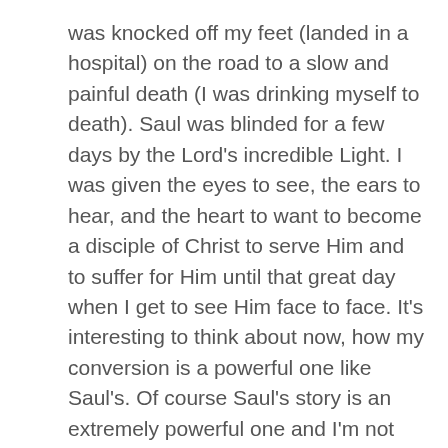was knocked off my feet (landed in a hospital) on the road to a slow and painful death (I was drinking myself to death). Saul was blinded for a few days by the Lord's incredible Light. I was given the eyes to see, the ears to hear, and the heart to want to become a disciple of Christ to serve Him and to suffer for Him until that great day when I get to see Him face to face. It's interesting to think about now, how my conversion is a powerful one like Saul's. Of course Saul's story is an extremely powerful one and I'm not claiming that mine is anything like his, but in today's world, I think what I have shared about what God has done in my life in previous posts is pretty powerful. I'm so in awe of the story of how Saul was completely transformed by the Lord and became one of the greatest Apostles. If